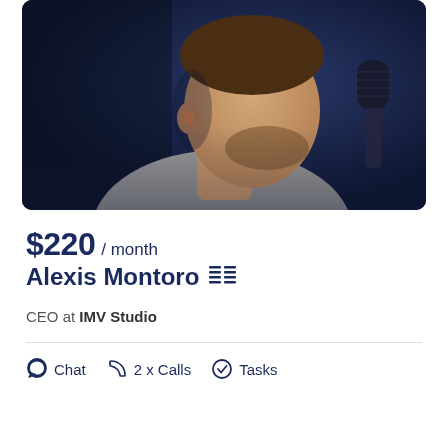[Figure (photo): Profile photo of Alexis Montoro, a man in a grey jacket shown in side profile near a microphone, dark blue/navy background]
$220 / month
Alexis Montoro
CEO at IMV Studio
Chat  2 x Calls  Tasks